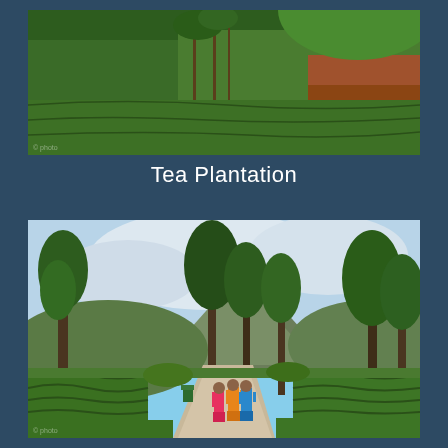[Figure (photo): Aerial/landscape view of a lush green tea plantation with terraced hillsides, dense tropical vegetation, and red soil visible on slopes]
Tea Plantation
[Figure (photo): Tea plantation landscape with tall trees, mountains in background, and three women in colorful traditional saris walking along a path surrounded by manicured tea bushes]